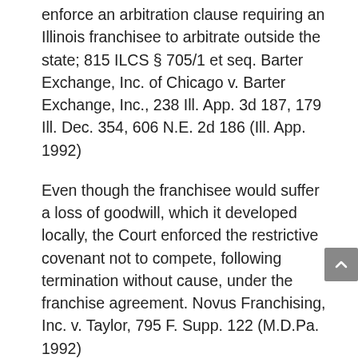enforce an arbitration clause requiring an Illinois franchisee to arbitrate outside the state; 815 ILCS § 705/1 et seq. Barter Exchange, Inc. of Chicago v. Barter Exchange, Inc., 238 Ill. App. 3d 187, 179 Ill. Dec. 354, 606 N.E. 2d 186 (Ill. App. 1992)
Even though the franchisee would suffer a loss of goodwill, which it developed locally, the Court enforced the restrictive covenant not to compete, following termination without cause, under the franchise agreement. Novus Franchising, Inc. v. Taylor, 795 F. Supp. 122 (M.D.Pa. 1992)
A franchiser waived its right to compel arbitration by filing a circuit court suit against